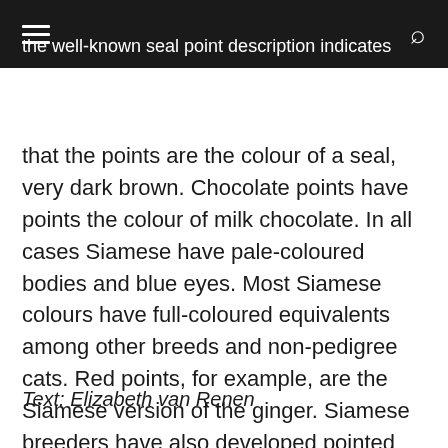the well-known seal point description indicates that the points are the colour of a seal, very dark brown.
that the points are the colour of a seal, very dark brown. Chocolate points have points the colour of milk chocolate. In all cases Siamese have pale-coloured bodies and blue eyes. Most Siamese colours have full-coloured equivalents among other breeds and non-pedigree cats. Red points, for example, are the Siamese version of the ginger. Siamese breeders have also developed pointed equivalents of the tabby or stripy cats. They have tabby markings on their points, including an ‘M’ mark on the forehead and rings on the tail.
Text: Elizabeth van Renen